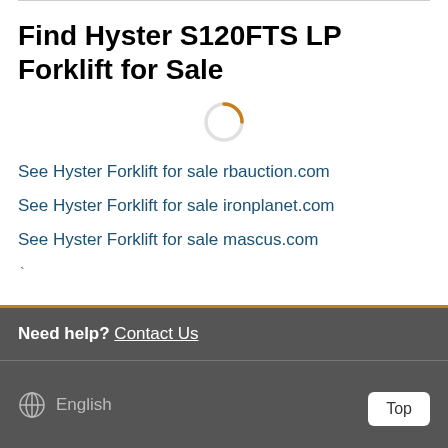Find Hyster S120FTS LP Forklift for Sale
[Figure (other): Loading spinner — orange/brown circular loading indicator, partially complete arc]
See Hyster Forklift for sale rbauction.com
See Hyster Forklift for sale ironplanet.com
See Hyster Forklift for sale mascus.com
Need help? Contact Us
English  Top